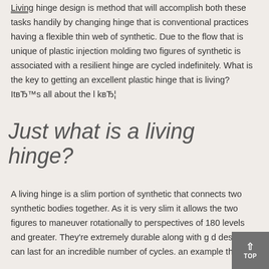Living hinge design is method that will accomplish both these tasks handily by changing hinge that is conventional practices having a flexible thin web of synthetic. Due to the flow that is unique of plastic injection molding two figures of synthetic is associated with a resilient hinge are cycled indefinitely. What is the key to getting an excellent plastic hinge that is living? ItвЂ™s all about the l kвЂ¦
Just what is a living hinge?
A living hinge is a slim portion of synthetic that connects two synthetic bodies together. As it is very slim it allows the two figures to maneuver rotationally to perspectives of 180 levels and greater. They're extremely durable along with g d design can last for an incredible number of cycles. an example that is